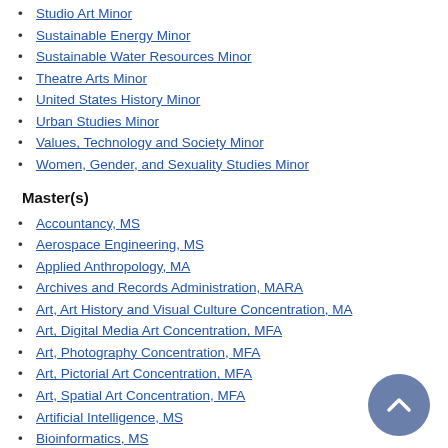Studio Art Minor
Sustainable Energy Minor
Sustainable Water Resources Minor
Theatre Arts Minor
United States History Minor
Urban Studies Minor
Values, Technology and Society Minor
Women, Gender, and Sexuality Studies Minor
Master(s)
Accountancy, MS
Aerospace Engineering, MS
Applied Anthropology, MA
Archives and Records Administration, MARA
Art, Art History and Visual Culture Concentration, MA
Art, Digital Media Art Concentration, MFA
Art, Photography Concentration, MFA
Art, Pictorial Art Concentration, MFA
Art, Spatial Art Concentration, MFA
Artificial Intelligence, MS
Bioinformatics, MS
Biological Sciences, Ecology and Evolution Concentration, MS